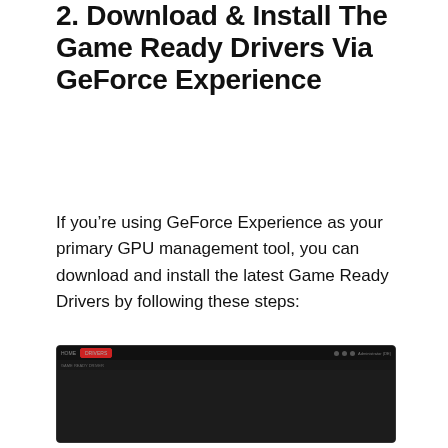2. Download & Install The Game Ready Drivers Via GeForce Experience
If you're using GeForce Experience as your primary GPU management tool, you can download and install the latest Game Ready Drivers by following these steps:
[Figure (screenshot): Screenshot of the GeForce Experience application showing a dark-themed interface with navigation bar at the top. A red-highlighted button is visible in the top navigation area. The main content area is mostly dark/black.]